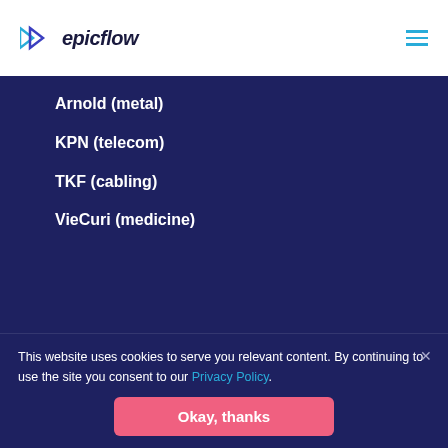epicflow
Arnold (metal)
KPN (telecom)
TKF (cabling)
VieCuri (medicine)
This website uses cookies to serve you relevant content. By continuing to use the site you consent to our Privacy Policy.
Okay, thanks